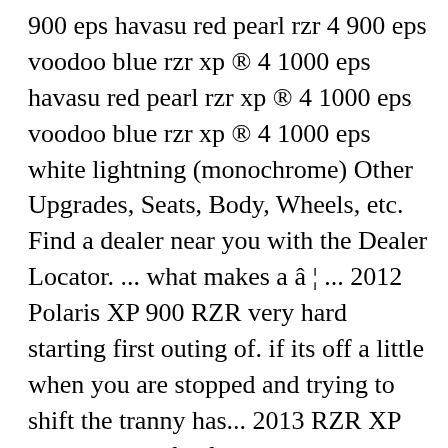900 eps havasu red pearl rzr 4 900 eps voodoo blue rzr xp ® 4 1000 eps havasu red pearl rzr xp ® 4 1000 eps voodoo blue rzr xp ® 4 1000 eps white lightning (monochrome) Other Upgrades, Seats, Body, Wheels, etc. Find a dealer near you with the Dealer Locator. ... what makes a â ¦ ... 2012 Polaris XP 900 RZR very hard starting first outing of. if its off a little when you are stopped and trying to shift the tranny has... 2013 RZR XP 900 .... shop, for first service and to put in a new belt, blew up the firstone already. The mechanism to engage the flywheel is faulty, probably the solenoid that activates it is either faulty (it moves its internal parts to make contact and so the motor spins, but it is not pulling the engaging mechanism at